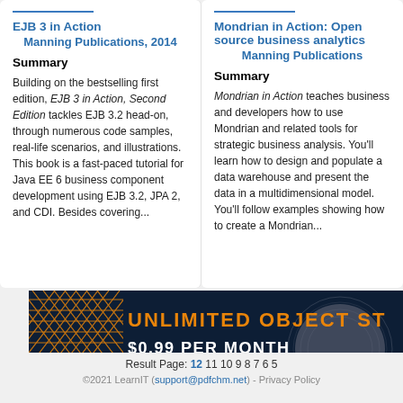EJB 3 in Action
            Manning Publications, 2014
Summary

Building on the bestselling first edition, EJB 3 in Action, Second Edition tackles EJB 3.2 head-on, through numerous code samples, real-life scenarios, and illustrations. This book is a fast-paced tutorial for Java EE 6 business component development using EJB 3.2, JPA 2, and CDI. Besides covering...
Mondrian in Action: Open source business analytics
            Manning Publications
Summary

Mondrian in Action teaches business and developers how to use Mondrian and related tools for strategic business analysis. You'll learn how to design and populate a data warehouse and present the data in a multidimensional model. You'll follow examples showing how to create a Mondrian...
[Figure (infographic): Advertisement banner with dark blue background, orange diamond mesh pattern on left, grey circle on right, orange text 'UNLIMITED OBJECT ST' and white text '$0.99 PER MONTH']
Result Page: 12 11 10 9 8 7 6 5
©2021 LearnIT (support@pdfchm.net) - Privacy Policy